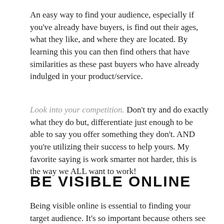An easy way to find your audience, especially if you've already have buyers, is find out their ages, what they like, and where they are located. By learning this you can then find others that have similarities as these past buyers who have already indulged in your product/service.
Look into your competition. Don't try and do exactly what they do but, differentiate just enough to be able to say you offer something they don't. AND you're utilizing their success to help yours. My favorite saying is work smarter not harder, this is the way we ALL want to work!
BE VISIBLE ONLINE
Being visible online is essential to finding your target audience. It's so important because others see your